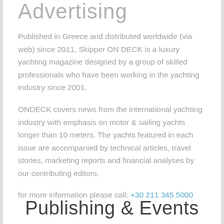Advertising
Published in Greece and distributed worldwide (via web) since 2011, Skipper ON DECK is a luxury yachting magazine designed by a group of skilled professionals who have been working in the yachting industry since 2001.
ONDECK covers news from the international yachting industry with emphasis on motor & sailing yachts longer than 10 meters. The yachts featured in each issue are accompanied by technical articles, travel stories, marketing reports and financial analyses by our contributing editors.
for more information please call: +30 211 345 5000
Publishing & Events